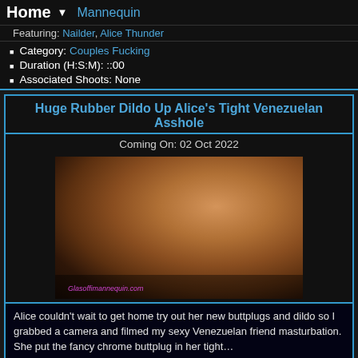Home ▼ Mannequin
Featuring: [name] Nailder, Alice Thunder
Category: Couples Fucking
Duration (H:S:M): ::00
Associated Shoots: None
Huge Rubber Dildo Up Alice's Tight Venezuelan Asshole
Coming On: 02 Oct 2022
[Figure (photo): Close-up photo with watermark 'Glasoffimannequin.com']
Alice couldn't wait to get home try out her new buttplugs and dildo so I grabbed a camera and filmed my sexy Venezuelan friend masturbation. She put the fancy chrome buttplug in her tight...